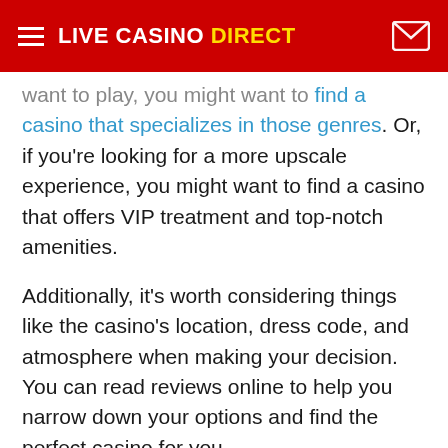LIVE CASINO DIRECT
want to play, you might want to find a casino that specializes in those genres. Or, if you're looking for a more upscale experience, you might want to find a casino that offers VIP treatment and top-notch amenities.
Additionally, it's worth considering things like the casino's location, dress code, and atmosphere when making your decision. You can read reviews online to help you narrow down your options and find the perfect casino for you.
Manage your bankroll wisely
Manage all in the...